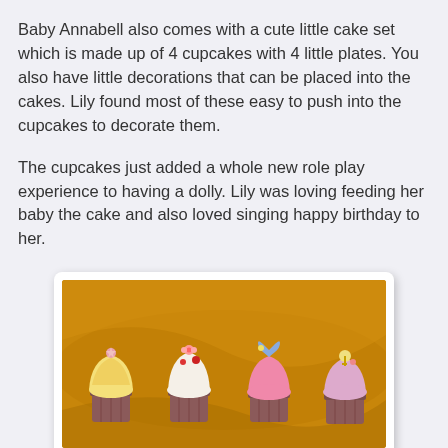Baby Annabell also comes with a cute little cake set which is made up of 4 cupcakes with 4 little plates. You also have little decorations that can be placed into the cakes. Lily found most of these easy to push into the cupcakes to decorate them.

The cupcakes just added a whole new role play experience to having a dolly. Lily was loving feeding her baby the cake and also loved singing happy birthday to her.
[Figure (photo): Four small toy cupcakes with colorful frosting and decorative toppers arranged in a row on a golden/amber colored surface]